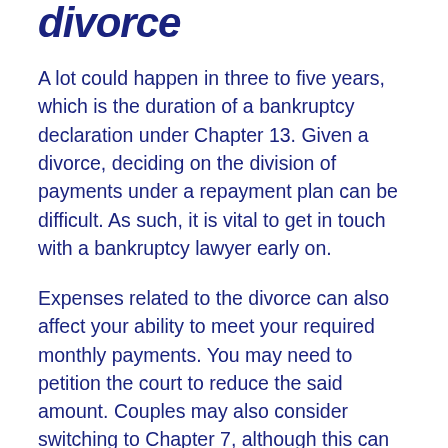divorce
A lot could happen in three to five years, which is the duration of a bankruptcy declaration under Chapter 13. Given a divorce, deciding on the division of payments under a repayment plan can be difficult. As such, it is vital to get in touch with a bankruptcy lawyer early on.
Expenses related to the divorce can also affect your ability to meet your required monthly payments. You may need to petition the court to reduce the said amount. Couples may also consider switching to Chapter 7, although this can result in the loss of personal property.